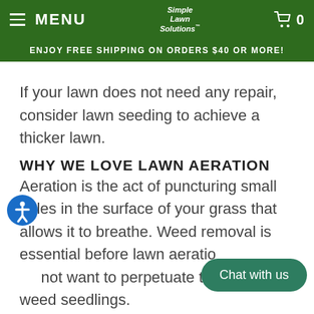MENU  Simple Lawn Solutions  0
ENJOY FREE SHIPPING ON ORDERS $40 OR MORE!
If your lawn does not need any repair, consider lawn seeding to achieve a thicker lawn.
WHY WE LOVE LAWN AERATION
Aeration is the act of puncturing small holes in the surface of your grass that allows it to breathe. Weed removal is essential before lawn aeration as you do not want to perpetuate the spread of weed seedlings.
Chat with us